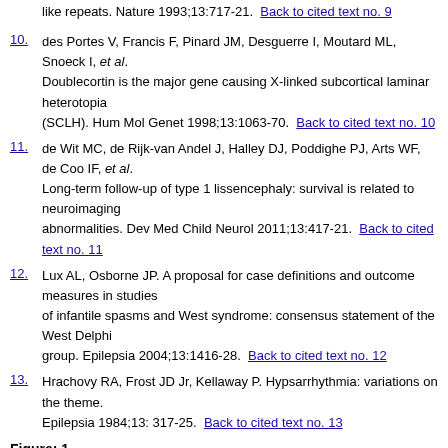like repeats. Nature 1993;13:717-21.  Back to cited text no. 9
10. des Portes V, Francis F, Pinard JM, Desguerre I, Moutard ML, Snoeck I, et al. Doublecortin is the major gene causing X-linked subcortical laminar heterotopia (SCLH). Hum Mol Genet 1998;13:1063-70.  Back to cited text no. 10
11. de Wit MC, de Rijk-van Andel J, Halley DJ, Poddighe PJ, Arts WF, de Coo IF, et al. Long-term follow-up of type 1 lissencephaly: survival is related to neuroimaging abnormalities. Dev Med Child Neurol 2011;13:417-21.  Back to cited text no. 11
12. Lux AL, Osborne JP. A proposal for case definitions and outcome measures in studies of infantile spasms and West syndrome: consensus statement of the West Delphi group. Epilepsia 2004;13:1416-28.  Back to cited text no. 12
13. Hrachovy RA, Frost JD Jr, Kellaway P. Hypsarrhythmia: variations on the theme. Epilepsia 1984;13: 317-25.  Back to cited text no. 13
Figure: 1
[Figure (photo): Medical brain scan image (MRI) with white letter A in top left corner on dark background, showing brain anatomy]